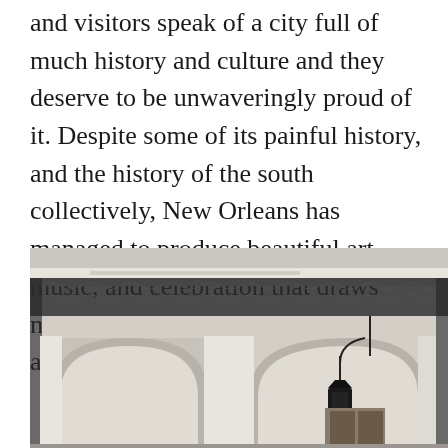and visitors speak of a city full of much history and culture and they deserve to be unwaveringly proud of it. Despite some of its painful history, and the history of the south collectively, New Orleans has managed to produce beautiful art, music, and celebration that draws millions to the city time and time again.
[Figure (photo): Photograph of a New Orleans building facade featuring ornate wrought iron lacework balcony railing with scrolling patterns, white arched columns below, and a hanging black lantern streetlamp.]